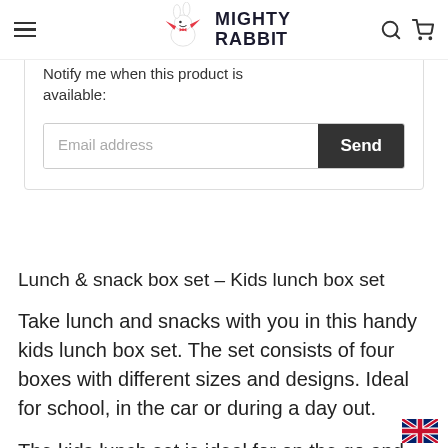Mighty Rabbit
Notify me when this product is available:
Email address  Send
Lunch & snack box set – Kids lunch box set
Take lunch and snacks with you in this handy kids lunch box set. The set consists of four boxes with different sizes and designs. Ideal for school, in the car or during a day out.
The kids lunch set is ideal for on the go and available in different themes. You can easily store fruit, raw vegetables, cookies, sweets, but also a tasty sandwich